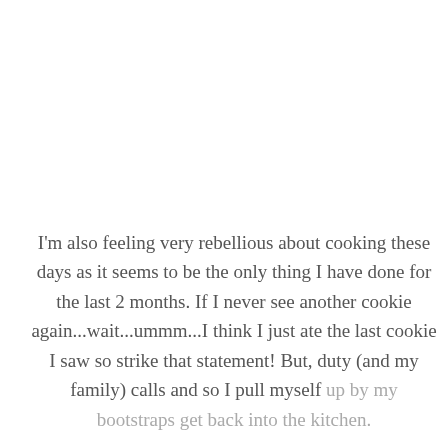I'm also feeling very rebellious about cooking these days as it seems to be the only thing I have done for the last 2 months. If I never see another cookie again...wait...ummm...I think I just ate the last cookie I saw so strike that statement! But, duty (and my family) calls and so I pull myself up by my bootstraps get back into the kitchen.